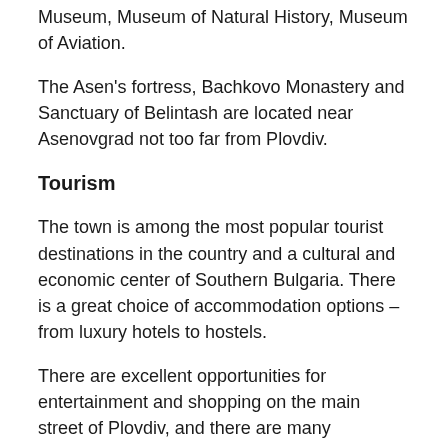Museum, Museum of Natural History, Museum of Aviation.
The Asen's fortress, Bachkovo Monastery and Sanctuary of Belintash are located near Asenovgrad not too far from Plovdiv.
Tourism
The town is among the most popular tourist destinations in the country and a cultural and economic center of Southern Bulgaria. There is a great choice of accommodation options – from luxury hotels to hostels.
There are excellent opportunities for entertainment and shopping on the main street of Plovdiv, and there are many